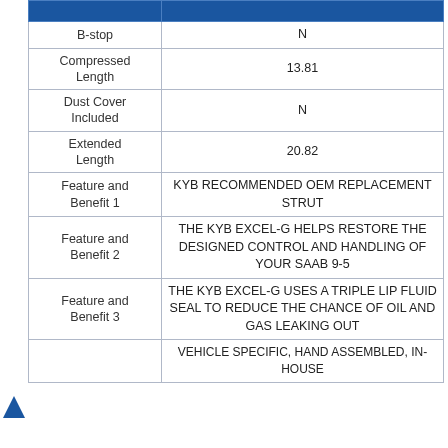|  |  |
| --- | --- |
| B-stop | N |
| Compressed Length | 13.81 |
| Dust Cover Included | N |
| Extended Length | 20.82 |
| Feature and Benefit 1 | KYB RECOMMENDED OEM REPLACEMENT STRUT |
| Feature and Benefit 2 | THE KYB EXCEL-G HELPS RESTORE THE DESIGNED CONTROL AND HANDLING OF YOUR SAAB 9-5 |
| Feature and Benefit 3 | THE KYB EXCEL-G USES A TRIPLE LIP FLUID SEAL TO REDUCE THE CHANCE OF OIL AND GAS LEAKING OUT |
|  | VEHICLE SPECIFIC, HAND ASSEMBLED, IN-HOUSE |